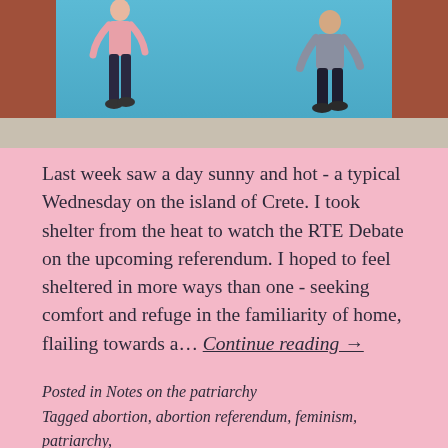[Figure (photo): Two people walking in front of a blue billboard/wall flanked by brick walls. One person on the left wears a pink top and dark jeans, the other on the right wears a grey hoodie and dark cropped pants.]
Last week saw a day sunny and hot - a typical Wednesday on the island of Crete. I took shelter from the heat to watch the RTE Debate on the upcoming referendum. I hoped to feel sheltered in more ways than one - seeking comfort and refuge in the familiarity of home, flailing towards a... Continue reading →
Posted in Notes on the patriarchy
Tagged abortion, abortion referendum, feminism, patriarchy, repeal the 8th